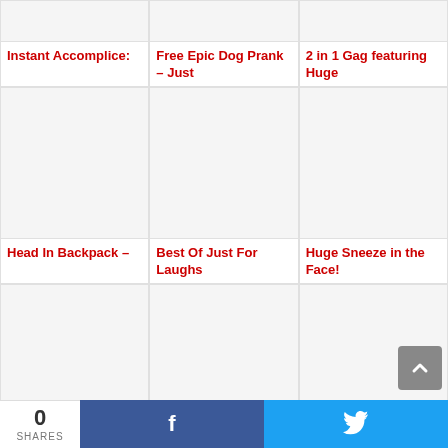[Figure (screenshot): Grid of video/article thumbnails with titles on a content website]
Instant Accomplice:
Free Epic Dog Prank – Just
2 in 1 Gag featuring Huge
Head In Backpack –
Best Of Just For Laughs
Huge Sneeze in the Face!
Angry People
Undead Catch
Raising the Bar
0 SHARES